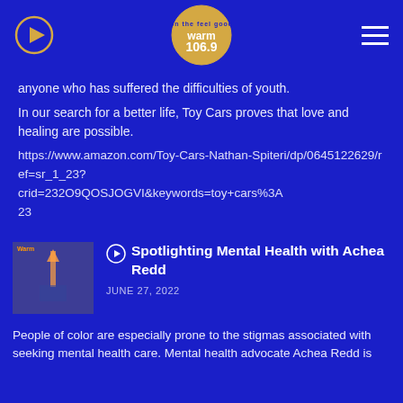Warm 106.9 radio station header with play button and hamburger menu
anyone who has suffered the difficulties of youth.
In our search for a better life, Toy Cars proves that love and healing are possible.
https://www.amazon.com/Toy-Cars-Nathan-Spiteri/dp/0645122629/ref=sr_1_23?crid=232O9QOSJOGVI&keywords=toy+cars%3A23
[Figure (photo): Thumbnail image of a book or podcast cover with Seattle Space Needle skyline]
Spotlighting Mental Health with Achea Redd
JUNE 27, 2022
People of color are especially prone to the stigmas associated with seeking mental health care. Mental health advocate Achea Redd is